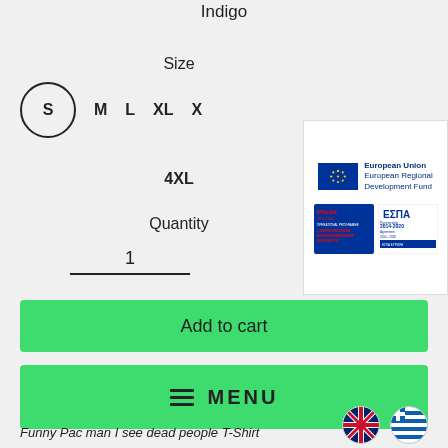Indigo
Size
S  M  L  XL  X
4XL
Quantity
1
[Figure (logo): European Union European Regional Development Fund logo with EU flag, EPAnEK 2014-2020 and ΕΣΠΑ 2014-2020 logos]
Add to cart
MENU
[Figure (illustration): UK flag circle and Greek flag circle]
Funny Pac man I see dead people T-Shirt